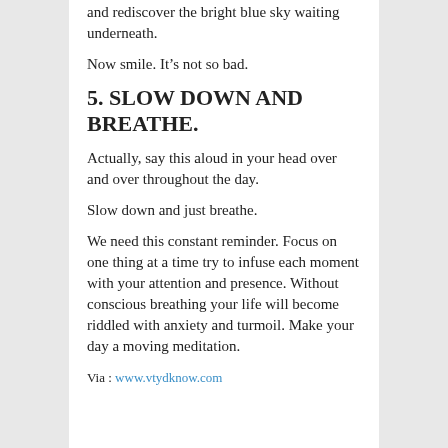and rediscover the bright blue sky waiting underneath.
Now smile. It’s not so bad.
5. SLOW DOWN AND BREATHE.
Actually, say this aloud in your head over and over throughout the day.
Slow down and just breathe.
We need this constant reminder. Focus on one thing at a time try to infuse each moment with your attention and presence. Without conscious breathing your life will become riddled with anxiety and turmoil. Make your day a moving meditation.
Via : www.vtydknow.com